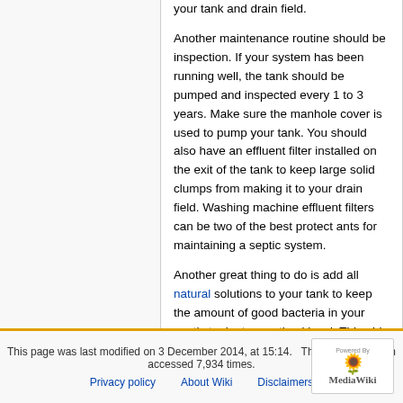your tank and drain field.
Another maintenance routine should be inspection. If your system has been running well, the tank should be pumped and inspected every 1 to 3 years. Make sure the manhole cover is used to pump your tank. You should also have an effluent filter installed on the exit of the tank to keep large solid clumps from making it to your drain field. Washing machine effluent filters can be two of the best protect ants for maintaining a septic system.
Another great thing to do is add all natural solutions to your tank to keep the amount of good bacteria in your septic tank at an optimal level. This aids in solid digestion and promotes a healthy septic environment.
By: Bradley Skierkowski
This page was last modified on 3 December 2014, at 15:14. This page has been accessed 7,934 times. Privacy policy About Wiki Disclaimers